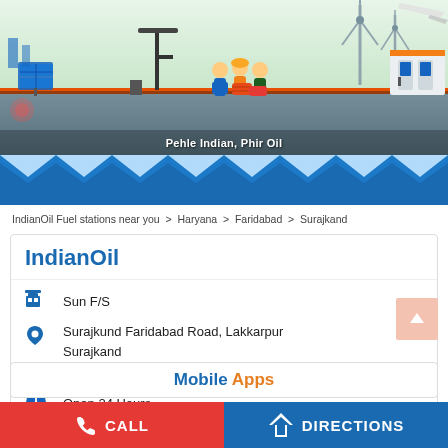[Figure (illustration): IndianOil promotional banner illustration showing industrial workers, oil barrels, solar panels, wind turbines, oil pump jack, and a fuel station. Tagline reads 'Pehle Indian, Phir Oil'.]
Pehle Indian, Phir Oil
IndianOil Fuel stations near you > Haryana > Faridabad > Surajkand
IndianOil
Sun F/S
Surajkund Faridabad Road, Lakkarpur Surajkand
Faridabad - 121009
Open 24 Hours
Mobile Apps